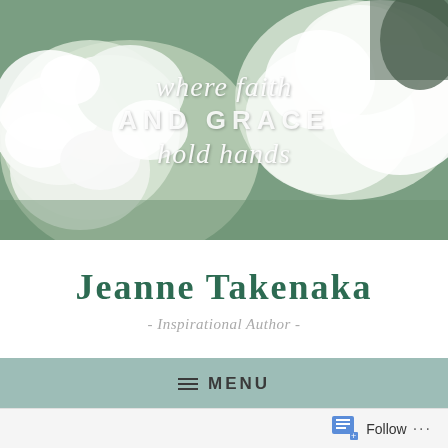[Figure (photo): White hydrangea flowers used as hero banner background with italic and uppercase text overlay reading 'where faith AND GRACE hold hands']
Jeanne Takenaka
- Inspirational Author -
≡ MENU
CHAOS: 3 THINGS I LEARNED WHEN CHAOS STRUCK, LIFE, MOTHERING,